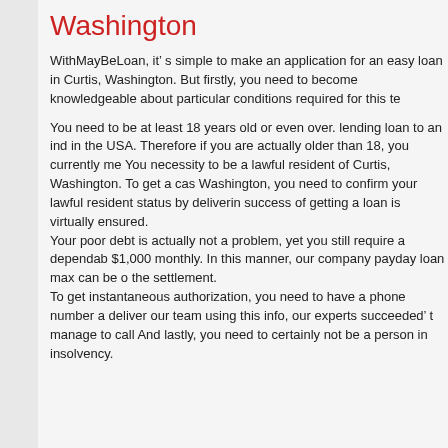Washington
WithMayBeLoan, it’ s simple to make an application for an easy loan in Curtis, Washington. But firstly, you need to become knowledgeable about particular conditions required for this type of loan.
You need to be at least 18 years old or even over. lending loan to an individual under 18 years of age is forbidden in the USA. Therefore if you are actually older than 18, you currently meet the first requirement. You necessity to be a lawful resident of Curtis, Washington. To get a cash advance in Curtis, Washington, you need to confirm your lawful resident status by delivering your contact address. After that, success of getting a loan is virtually ensured. Your poor debt is actually not a problem, yet you still require a dependable and consistent revenue. The minimal settlement is $1,000 monthly. In this manner, our company payday loan max can be confident that you can handle the settlement. To get instantaneous authorization, you need to have a phone number and valid email address. If you don’ t deliver our team using this info, our experts succeeded’ t manage to call you. And lastly, you need to certainly not be a person in insolvency.